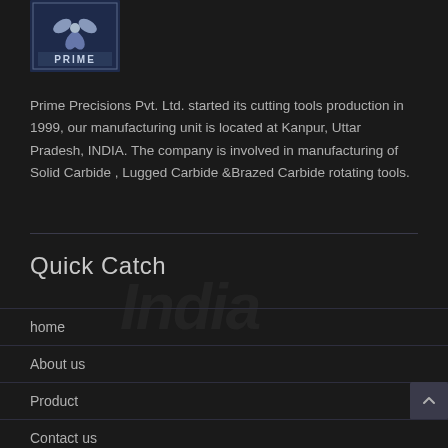[Figure (logo): Prime Precisions logo — blue square with a leaf/flower graphic and the word PRIME at the bottom]
Prime Precisions Pvt. Ltd. started its cutting tools production in 1999, our manufacturing unit is located at Kanpur, Uttar Pradesh, INDIA. The company is involved in manufacturing of Solid Carbide , Lugged Carbide &Brazed Carbide rotating tools.
Quick Catch
home
About us
Product
Contact us